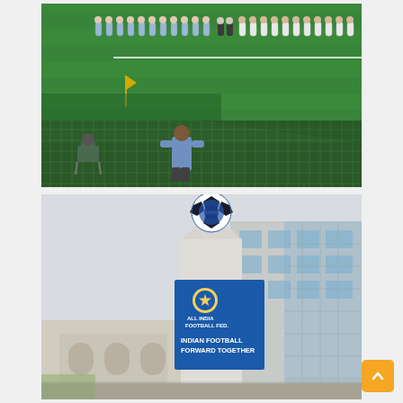[Figure (photo): Football match pre-game lineup on a green pitch. Two teams lined up facing each other across the center circle area. Players in light blue/grey kits on the left and white kits on the right. A yellow corner flag is visible. Spectators and officials can be seen beyond a green wire fence in the foreground, including a person in a blue shirt standing and a person seated in a folding chair.]
[Figure (photo): All India Football Federation (AIFF) headquarters building exterior. A modern multi-story building with glass and concrete facade. A large blue and white sign board on the front reads the AIFF logo and 'INDIAN FOOTBALL FORWARD TOGETHER'. A giant football sculpture sits on top of the central tower/column. Sky is overcast/light grey. An orange scroll-to-top button is visible in the bottom right corner.]